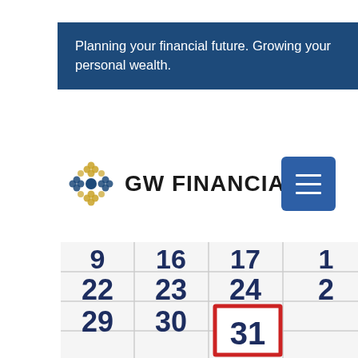Planning your financial future. Growing your personal wealth.
[Figure (logo): GW Financial, Inc. logo with ornamental symbol and text]
[Figure (photo): Close-up of a wall calendar showing dates 16, 17, 22, 23, 24, 29, 30, 31 with the number 31 highlighted in a red rectangle border]